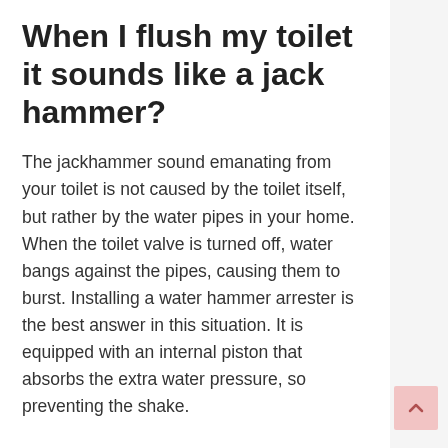When I flush my toilet it sounds like a jack hammer?
The jackhammer sound emanating from your toilet is not caused by the toilet itself, but rather by the water pipes in your home. When the toilet valve is turned off, water bangs against the pipes, causing them to burst. Installing a water hammer arrester is the best answer in this situation. It is equipped with an internal piston that absorbs the extra water pressure, so preventing the shake.